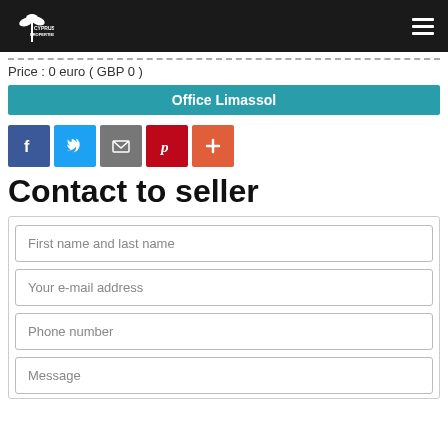Cyprus Properties
Price : 0 euro ( GBP 0 )
Office Limassol
[Figure (other): Social share buttons: Facebook, Twitter, Email, Pinterest, More (+)]
Contact to seller
First name and last name
Your e-mail address
Phone number
Message